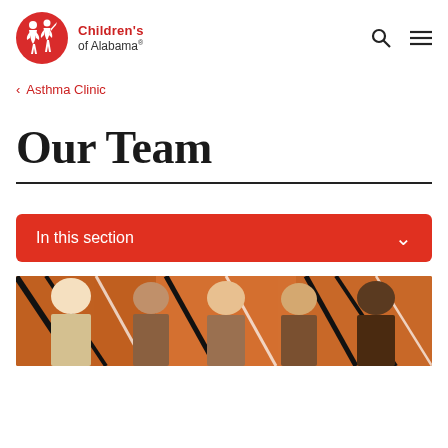Children's of Alabama
< Asthma Clinic
Our Team
In this section
[Figure (photo): Group photo of medical team members standing in front of an orange and black abstract mural background]